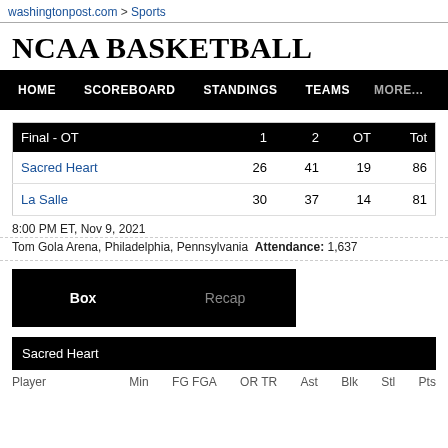washingtonpost.com > Sports
NCAA BASKETBALL
HOME   SCOREBOARD   STANDINGS   TEAMS   MORE...
| Final - OT | 1 | 2 | OT | Tot |
| --- | --- | --- | --- | --- |
| Sacred Heart | 26 | 41 | 19 | 86 |
| La Salle | 30 | 37 | 14 | 81 |
8:00 PM ET, Nov 9, 2021
Tom Gola Arena, Philadelphia, Pennsylvania  Attendance: 1,637
Box   Recap
Sacred Heart
Player   Min   FG FGA   OR TR   Ast   Blk   Stl   Pts